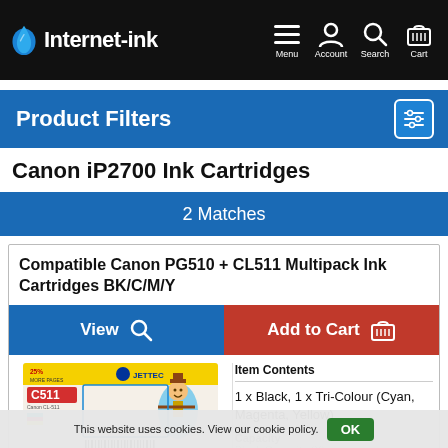Internet-ink | Menu | Account | Search | Cart
Product Filters
Canon iP2700 Ink Cartridges
2 Matches
Compatible Canon PG510 + CL511 Multipack Ink Cartridges BK/C/M/Y
View
Add to Cart
[Figure (photo): Jettec C511 Canon CL-511 ink cartridge box with 25% more pages label and a photo of a scarecrow]
Item Contents
1 x Black, 1 x Tri-Colour (Cyan, Magenta, Yellow)
Capacity
This website uses cookies. View our cookie policy.
OK